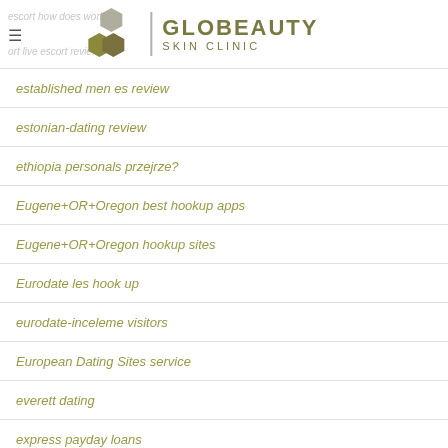GLOBEAUTY SKIN CLINIC
established men es review
estonian-dating review
ethiopia personals przejrze?
Eugene+OR+Oregon best hookup apps
Eugene+OR+Oregon hookup sites
Eurodate les hook up
eurodate-inceleme visitors
European Dating Sites service
everett dating
express payday loans
express title loan